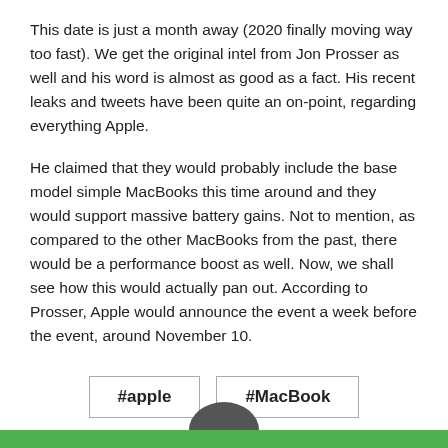This date is just a month away (2020 finally moving way too fast). We get the original intel from Jon Prosser as well and his word is almost as good as a fact. His recent leaks and tweets have been quite an on-point, regarding everything Apple.
He claimed that they would probably include the base model simple MacBooks this time around and they would support massive battery gains. Not to mention, as compared to the other MacBooks from the past, there would be a performance boost as well. Now, we shall see how this would actually pan out. According to Prosser, Apple would announce the event a week before the event, around November 10.
#apple
#MacBook